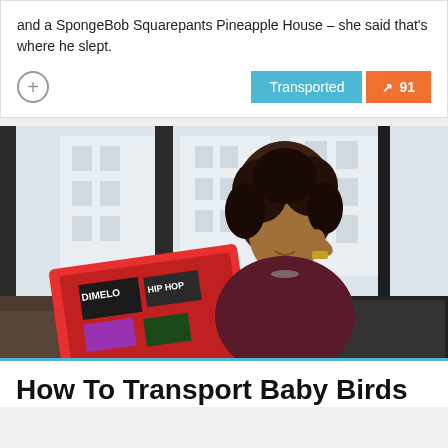and a SpongeBob Squarepants Pineapple House – she said that's where he slept.
[Figure (other): UI buttons: circle-plus icon, 'Transported' teal button, orange score button showing trending arrow and '91']
[Figure (photo): A woman with curly hair sitting at a desk, talking on the phone, with a sticker-covered laptop and large windows in the background.]
How To Transport Baby Birds